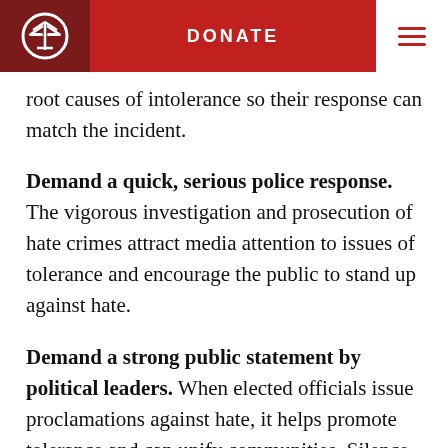DONATE
root causes of intolerance so their response can match the incident.
Demand a quick, serious police response. The vigorous investigation and prosecution of hate crimes attract media attention to issues of tolerance and encourage the public to stand up against hate.
Demand a strong public statement by political leaders. When elected officials issue proclamations against hate, it helps promote tolerance and can unify communities. Silence, on the other hand, can be interpreted as the acceptance of hate.